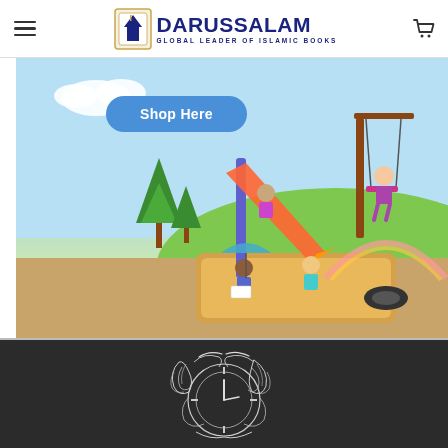Darussalam — Global Leader of Islamic Books
[Figure (illustration): Children playing on a playground with slide, swing, sandbox and reading under umbrella — colorful cartoon illustration with a 'Shop Here' button overlay]
[Figure (illustration): Black and white decorative Islamic calligraphic art in the shape of a brain/clock hybrid, shown on dark background]